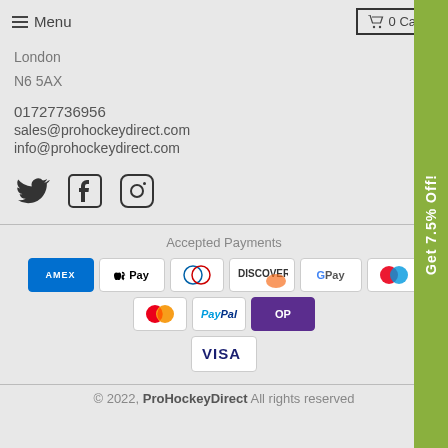Menu   0 Cart
London
N6 5AX
01727736956
sales@prohockeydirect.com
info@prohockeydirect.com
[Figure (other): Social media icons: Twitter, Facebook, Instagram]
Accepted Payments
[Figure (other): Payment method logos: AMEX, Apple Pay, Diners, Discover, Google Pay, Maestro, Mastercard, PayPal, OP, VISA]
© 2022, ProHockeyDirect All rights reserved